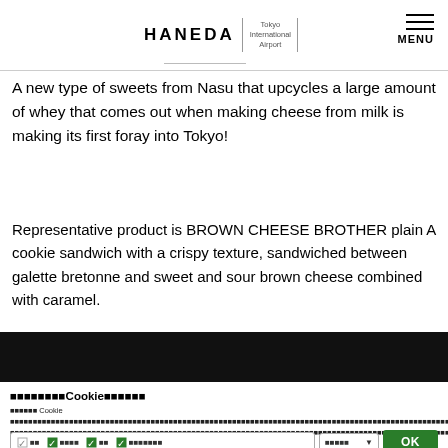HANEDA Tokyo International Airport MENU
A new type of sweets from Nasu that upcycles a large amount of whey that comes out when making cheese from milk is making its first foray into Tokyo!
Representative product is BROWN CHEESE BROTHER plain A cookie sandwich with a crispy texture, sandwiched between galette bretonne and sweet and sour brown cheese combined with caramel.
[Figure (photo): Dark/black image bar at bottom of article content]
このウェブサイトはCookieを使用しています
このサイトは Cookie を使用して、ウェブサイトのトラフィックを分析し、最高のエクスペリエンスを提供します。Cookieの使用に関する詳細については、Cookieポリシーページをご覧ください。 利用規約とプライバシーポリシーをお読みください。